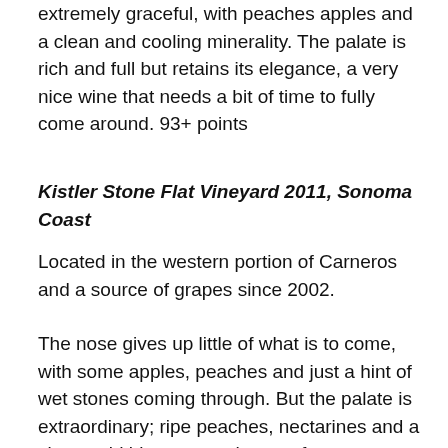extremely graceful, with peaches apples and a clean and cooling minerality. The palate is rich and full but retains its elegance, a very nice wine that needs a bit of time to fully come around. 93+ points
Kistler Stone Flat Vineyard 2011, Sonoma Coast
Located in the western portion of Carneros and a source of grapes since 2002.
The nose gives up little of what is to come, with some apples, peaches and just a hint of wet stones coming through. But the palate is extraordinary; ripe peaches, nectarines and a citrus acid blast paves the way for some nutty hints and smoky undertones. The layers of fruit and than the savoury notes are almost ridiculous – my mouth